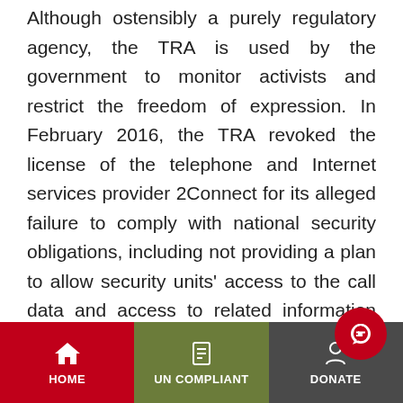Although ostensibly a purely regulatory agency, the TRA is used by the government to monitor activists and restrict the freedom of expression. In February 2016, the TRA revoked the license of the telephone and Internet services provider 2Connect for its alleged failure to comply with national security obligations, including not providing a plan to allow security units' access to the call data and access to related information sent over the provider's network.

We believe that the authorities are escalating restrictions on freedom of expression on the Internet in
HOME | UN COMPLIANT | DONATE